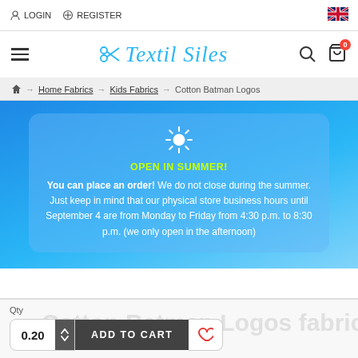LOGIN  REGISTER
Textil Siles
Home Fabrics → Kids Fabrics → Cotton Batman Logos
OPEN IN SUMMER! You can place an order! We do not close during the summer. Just keep in mind that our physical store business hours until September 4 are from Monday to Friday from 4:30 p.m. to 8:30 p.m. (we only open in the afternoon)
Qty  0.20  ADD TO CART